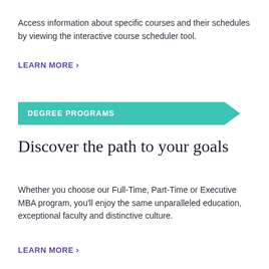Access information about specific courses and their schedules by viewing the interactive course scheduler tool.
LEARN MORE ›
DEGREE PROGRAMS
Discover the path to your goals
Whether you choose our Full-Time, Part-Time or Executive MBA program, you’ll enjoy the same unparalleled education, exceptional faculty and distinctive culture.
LEARN MORE ›